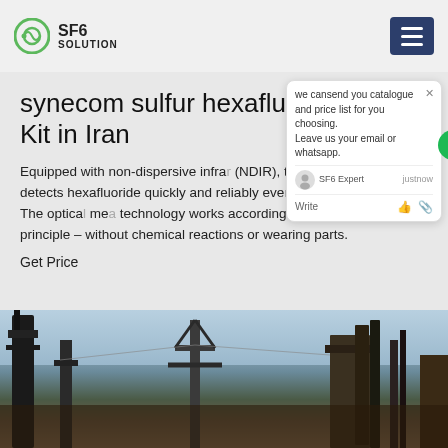SF6 SOLUTION
synecom sulfur hexafluoride Refill Kit in Iran
Equipped with non-dispersive infrared (NDIR), the SF6 transmitter detects hexafluoride quickly and reliably even range in ambient air. The optical measuring technology works according to a photometric measuring principle – without chemical reactions or wearing parts.
Get Price
[Figure (screenshot): Chat popup overlay showing message: 'we can send you catalogue and price list for you choosing. Leave us your email or whatsapp.' with SF6 Expert agent shown as 'just now' and Write input area.]
[Figure (photo): Outdoor photo of industrial electrical infrastructure, transmission towers and equipment, with sky in background.]